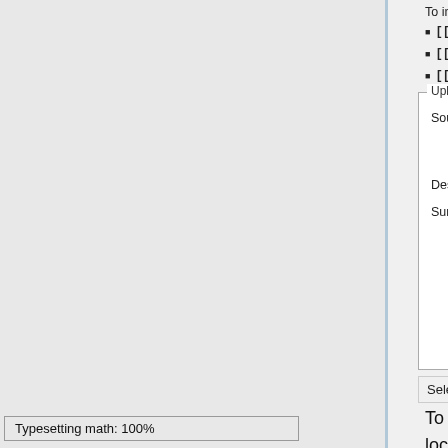To include a file in a page, use a link in one of the following fo
[[File:File.jpg]] to use the full version of the file
[[File:File.png|200px|thumb|left|alt text]] to us
[[Media:File.ogg]] for directly linking to the file withou
[Figure (screenshot): Upload file form showing Source filename, Destination filename (image.png), Summary fields, Watch this file and Ignore any warnings checkboxes, and Upload file button]
Selection page for uploads
To produce the figure included above showing the location of the discussion tab the syntax used was
Typesetting math: 100%